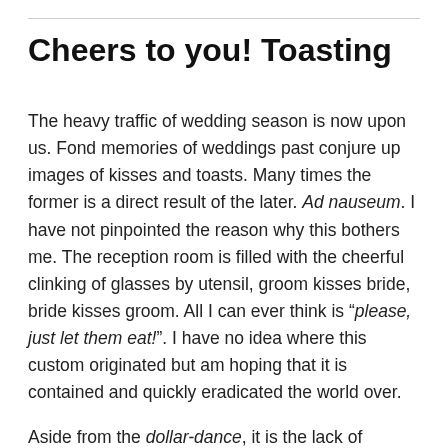Cheers to you! Toasting
The heavy traffic of wedding season is now upon us. Fond memories of weddings past conjure up images of kisses and toasts. Many times the former is a direct result of the later. Ad nauseum. I have not pinpointed the reason why this bothers me. The reception room is filled with the cheerful clinking of glasses by utensil, groom kisses bride, bride kisses groom. All I can ever think is “please, just let them eat!”. I have no idea where this custom originated but am hoping that it is contained and quickly eradicated the world over.
Aside from the dollar-dance, it is the lack of toasting know-how that disgruntles me. Toasting is not unique to